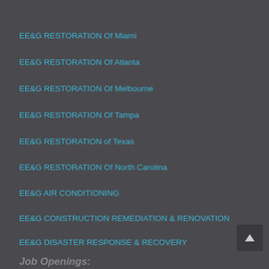EE&G RESTORATION Of Miami
EE&G RESTORATION Of Atlanta
EE&G RESTORATION Of Melbourne
EE&G RESTORATION Of Tampa
EE&G RESTORATION of Texas
EE&G RESTORATION Of North Carolina
EE&G AIR CONDITIONING
EE&G CONSTRUCTION REMEDIATION & RENOVATION
EE&G DISASTER RESPONSE & RECOVERY
Open jobs at EE&G Restoration Services, LLC
Job Openings:
...